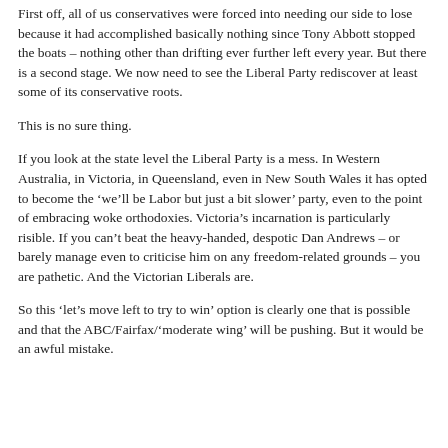First off, all of us conservatives were forced into needing our side to lose because it had accomplished basically nothing since Tony Abbott stopped the boats – nothing other than drifting ever further left every year. But there is a second stage. We now need to see the Liberal Party rediscover at least some of its conservative roots.
This is no sure thing.
If you look at the state level the Liberal Party is a mess. In Western Australia, in Victoria, in Queensland, even in New South Wales it has opted to become the ‘we’ll be Labor but just a bit slower’ party, even to the point of embracing woke orthodoxies. Victoria’s incarnation is particularly risible. If you can’t beat the heavy-handed, despotic Dan Andrews – or barely manage even to criticise him on any freedom-related grounds – you are pathetic. And the Victorian Liberals are.
So this ‘let’s move left to try to win’ option is clearly one that is possible and that the ABC/Fairfax/‘moderate wing’ will be pushing. But it would be an awful mistake.